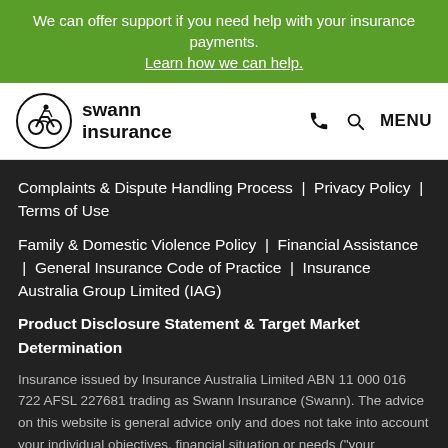We can offer support if you need help with your insurance payments. Learn how we can help.
[Figure (logo): Swann Insurance logo — a motorcycle rider in a circle with the text 'swann insurance']
Complaints & Dispute Handling Process | Privacy Policy | Terms of Use
Family & Domestic Violence Policy | Financial Assistance | General Insurance Code of Practice | Insurance Australia Group Limited (IAG)
Product Disclosure Statement & Target Market Determination
Insurance issued by Insurance Australia Limited ABN 11 000 016 722 AFSL 227681 trading as Swann Insurance (Swann). The advice on this website is general advice only and does not take into account your individual objectives, financial situation or needs ("your personal circumstances").